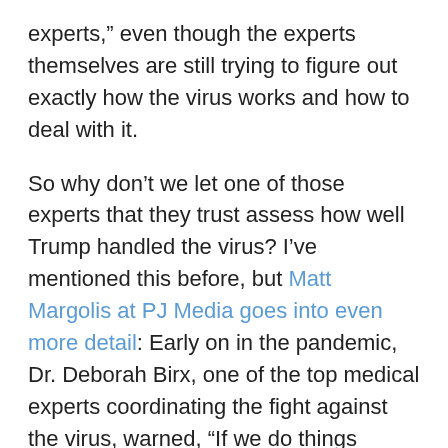experts,” even though the experts themselves are still trying to figure out exactly how the virus works and how to deal with it.
So why don’t we let one of those experts that they trust assess how well Trump handled the virus? I’ve mentioned this before, but Matt Margolis at PJ Media goes into even more detail: Early on in the pandemic, Dr. Deborah Birx, one of the top medical experts coordinating the fight against the virus, warned, “If we do things together well, almost perfectly, we could get in the range of 100,000 to 200,000 fatalities.”